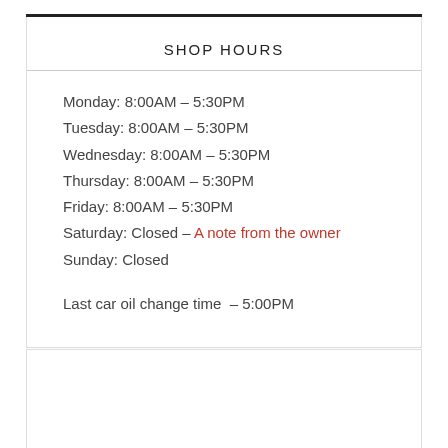SHOP HOURS
Monday: 8:00AM – 5:30PM
Tuesday: 8:00AM – 5:30PM
Wednesday: 8:00AM – 5:30PM
Thursday: 8:00AM – 5:30PM
Friday: 8:00AM – 5:30PM
Saturday: Closed – A note from the owner
Sunday: Closed
Last car oil change time  – 5:00PM